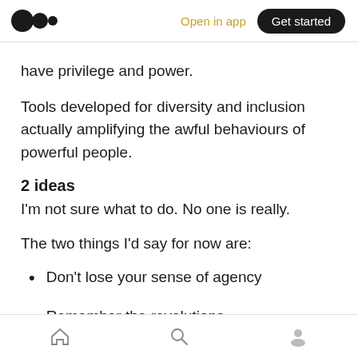Medium logo | Open in app | Get started
have privilege and power.
Tools developed for diversity and inclusion actually amplifying the awful behaviours of powerful people.
2 ideas
I'm not sure what to do. No one is really.
The two things I'd say for now are:
Don't lose your sense of agency
Remember the revolutions
Home | Search | Profile